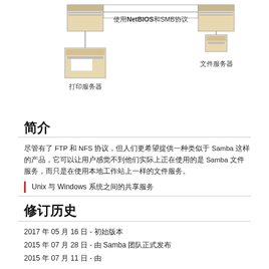[Figure (network-graph): Network diagram showing a print server (打印服务器) on the left and a file server (文件服务器) on the right, connected via NetBIOS and SMB protocols (使用NetBIOS和SMB协议)]
简介
尽管有了 FTP 和 NFS 协议，但人们更希望提供一种类似于 Samba 这样的产品，它可以让用户感觉不到他们实际上正在使用的是 Samba 文件服务，而只是在使用本地工作站上一样的文件服务。
Unix 与 Windows 系统之间的共享服务
修订历史
2017 年 05 月 16 日 - 初始版本
2015 年 07 月 28 日 - 由 Samba 团队正式发布
2015 年 07 月 11 日 - 由